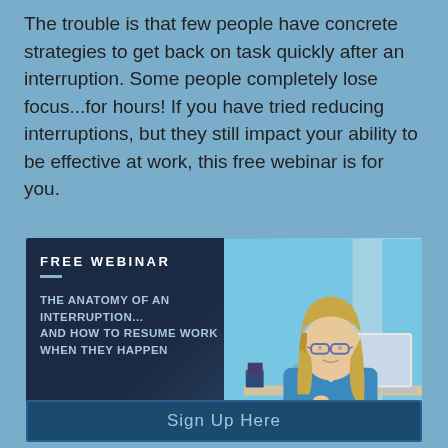The trouble is that few people have concrete strategies to get back on task quickly after an interruption. Some people completely lose focus...for hours! If you have tried reducing interruptions, but they still impact your ability to be effective at work, this free webinar is for you.
[Figure (infographic): Free Webinar promotional banner with dark navy left panel showing 'FREE WEBINAR' heading, a short divider, and subtitle text 'THE ANATOMY OF AN INTERRUPTION... AND HOW TO RESUME WORK WHEN THEY HAPPEN'. Right side shows a woman with glasses and long blonde hair wearing a blue sweater, working at a laptop with a teal mug on the desk.]
Sign Up Here